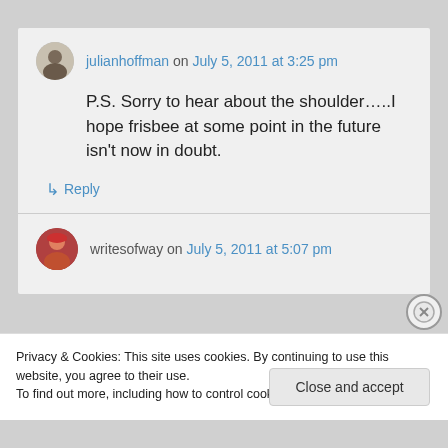julianhoffman on July 5, 2011 at 3:25 pm
P.S. Sorry to hear about the shoulder…..I hope frisbee at some point in the future isn't now in doubt.
↳ Reply
writesofway on July 5, 2011 at 5:07 pm
Privacy & Cookies: This site uses cookies. By continuing to use this website, you agree to their use. To find out more, including how to control cookies, see here: Cookie Policy
Close and accept